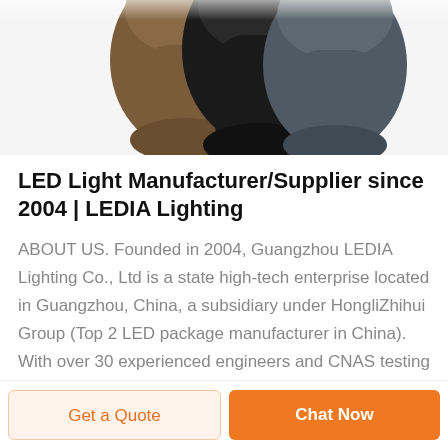[Figure (photo): Product photo showing three fabric neck gaiters/balaclavas in brown, black, and dark gray colors, partially cropped at top of page]
LED Light Manufacturer/Supplier since 2004 | LEDIA Lighting
ABOUT US. Founded in 2004, Guangzhou LEDIA Lighting Co., Ltd is a state high-tech enterprise located in Guangzhou, China, a subsidiary under HongliZhihui Group (Top 2 LED package manufacturer in China). With over 30 experienced engineers and CNAS testing lab, ISO 9001/14001
Get a Quote   Chat Now